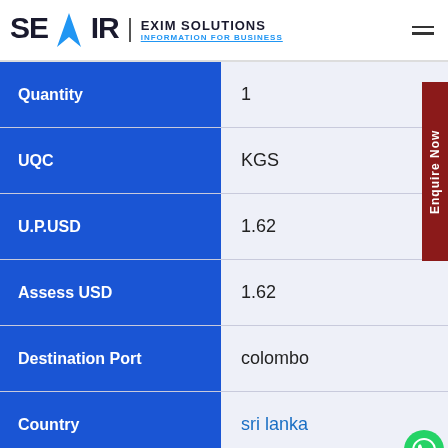SEAIR EXIM SOLUTIONS — INFORMATION FOR BUSINESS
| Field | Value |
| --- | --- |
| Quantity | 1 |
| UQC | KGS |
| U.P.USD | 1.62 |
| Assess USD | 1.62 |
| Destination Port | colombo |
| Country | sri lanka |
| Duty | (eye icon) |